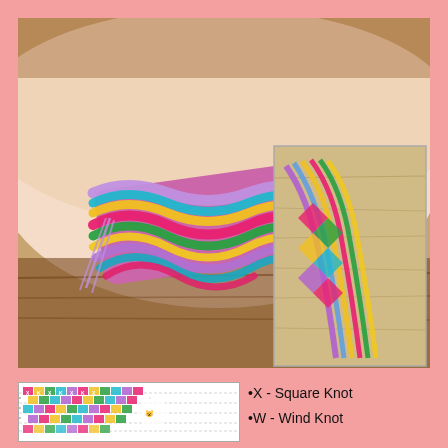[Figure (photo): Large photo of a colorful friendship bracelet worn on a wrist, showing chevron/arrow pattern in pink, yellow, teal, green, and purple threads on a wooden table background]
[Figure (photo): Smaller overlapping photo of the same or similar friendship bracelet laid flat, showing the full length with chevron/diamond pattern in multicolors on a light wood surface]
[Figure (illustration): Diagram/pattern chart for the friendship bracelet showing the knot pattern in a grid with colored symbols]
•X - Square Knot
•W - Wind Knot